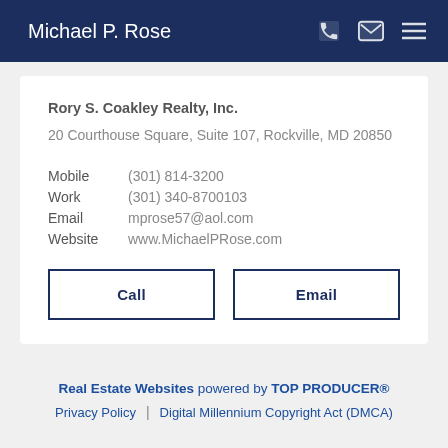Michael P. Rose
Rory S. Coakley Realty, Inc.
20 Courthouse Square, Suite 107, Rockville, MD 20850
Mobile (301) 814-3200
Work (301) 340-8700103
Email mprose57@aol.com
Website www.MichaelPRose.com
Call | Email
Real Estate Websites powered by TOP PRODUCER® | Privacy Policy | Digital Millennium Copyright Act (DMCA)